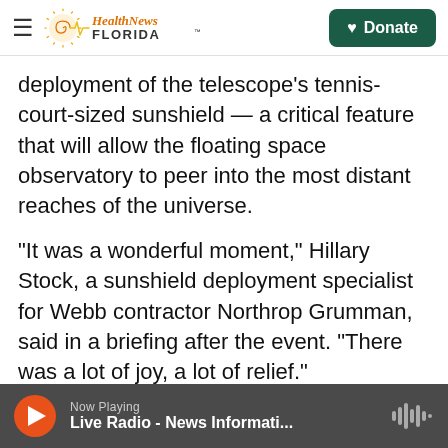Health News Florida — Donate
deployment of the telescope's tennis-court-sized sunshield — a critical feature that will allow the floating space observatory to peer into the most distant reaches of the universe.
"It was a wonderful moment," Hillary Stock, a sunshield deployment specialist for Webb contractor Northrop Grumman, said in a briefing after the event. "There was a lot of joy, a lot of relief."
"The JWST team kicks butt," Webb project manager Bill Ochs said Tuesday after the milestone
Now Playing — Live Radio - News Informati...